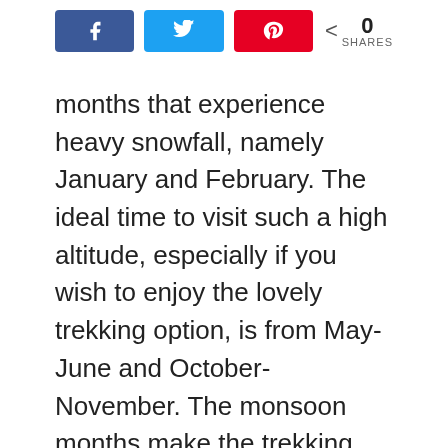Social share buttons: Facebook, Twitter, Pinterest — 0 SHARES
months that experience heavy snowfall, namely January and February. The ideal time to visit such a high altitude, especially if you wish to enjoy the lovely trekking option, is from May-June and October-November. The monsoon months make the trekking trail exceptionally perilous and unstable, hence you must avoid visiting Triund during this time.